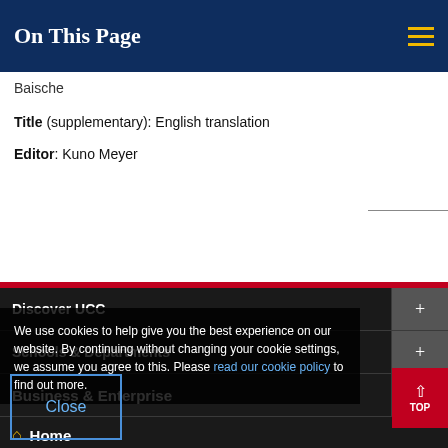On This Page
Baische
Title (supplementary): English translation
Editor: Kuno Meyer
Discover UCC
Schools & Departments
Business & Enterprise
We use cookies to help give you the best experience on our website. By continuing without changing your cookie settings, we assume you agree to this. Please read our cookie policy to find out more.
Alumni & Development
Close
Home